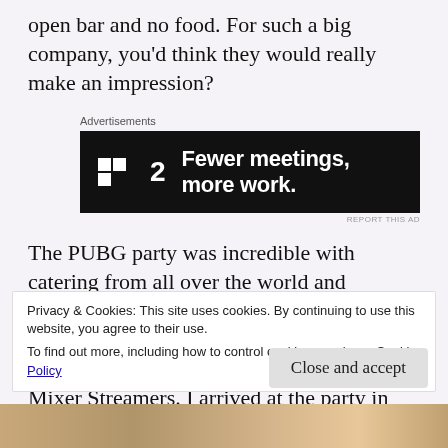open bar and no food. For such a big company, you'd think they would really make an impression?
[Figure (other): Advertisement banner for P2 app with text 'Fewer meetings, more work.' on dark background]
The PUBG party was incredible with catering from all over the world and unlimited cocktails based on different landing zones in the game! I got to mingle with some incredibly talented Twitch and Mixer Streamers. I arrived at the party in style accompanied by the handsome gentleman and
Privacy & Cookies: This site uses cookies. By continuing to use this website, you agree to their use.
To find out more, including how to control cookies, see here: Cookie Policy
Close and accept